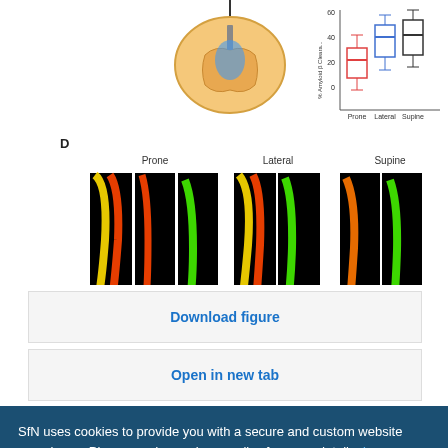[Figure (other): Scientific figure panel D showing fluorescence imaging of brain sections under Prone, Lateral, and Supine conditions with colored tracer channels (Merge, Texas red-3KD, FITC-2000KD) and two box plot graphs showing Fluorescence Intensity of FITC (AU) and Fluorescence Intensity of Texas red (AU) across Prone, Lateral, and Supine groups. Top portion also shows a brain schematic and a box plot for Amyloid β Clearance.]
Download figure
Open in new tab
SfN uses cookies to provide you with a secure and custom website experience. Please read our privacy policy for more details. Learn more